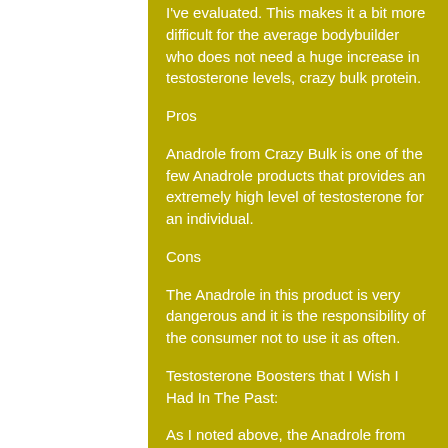I've evaluated. This makes it a bit more difficult for the average bodybuilder who does not need a huge increase in testosterone levels, crazy bulk protein.
Pros
Anadrole from Crazy Bulk is one of the few Anadrole products that provides an extremely high level of testosterone for an individual.
Cons
The Anadrole in this product is very dangerous and it is the responsibility of the consumer not to use it as often.
Testosterone Boosters that I Wish I Had In The Past:
As I noted above, the Anadrole from Crazy